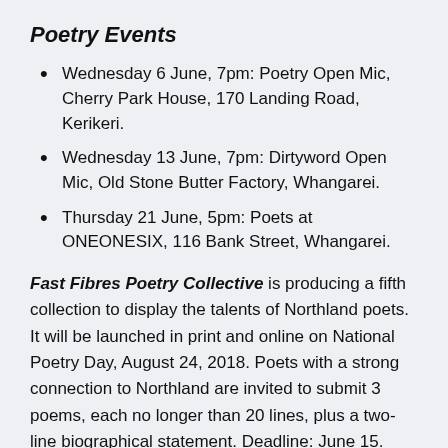Poetry Events
Wednesday 6 June, 7pm: Poetry Open Mic, Cherry Park House, 170 Landing Road, Kerikeri.
Wednesday 13 June, 7pm: Dirtyword Open Mic, Old Stone Butter Factory, Whangarei.
Thursday 21 June, 5pm: Poets at ONEONESIX, 116 Bank Street, Whangarei.
Fast Fibres Poetry Collective is producing a fifth collection to display the talents of Northland poets. It will be launched in print and online on National Poetry Day, August 24, 2018. Poets with a strong connection to Northland are invited to submit 3 poems, each no longer than 20 lines, plus a two-line biographical statement. Deadline: June 15. Email: fastfibres[at]live.com. Website: fastfibres.wordpress.com